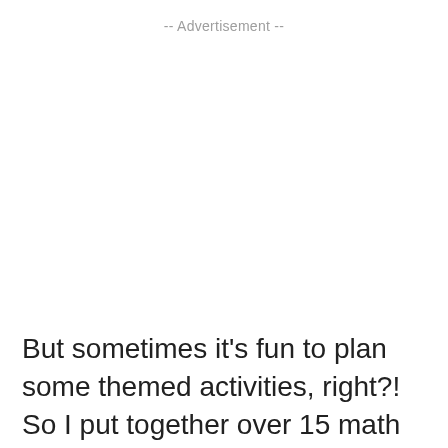-- Advertisement --
But sometimes it's fun to plan some themed activities, right?! So I put together over 15 math activities that are perfect for Valentine's Day.